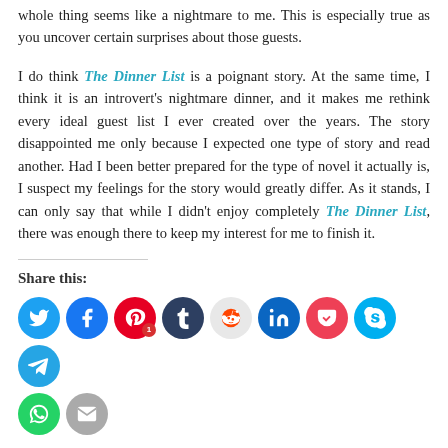whole thing seems like a nightmare to me. This is especially true as you uncover certain surprises about those guests.
I do think The Dinner List is a poignant story. At the same time, I think it is an introvert's nightmare dinner, and it makes me rethink every ideal guest list I ever created over the years. The story disappointed me only because I expected one type of story and read another. Had I been better prepared for the type of novel it actually is, I suspect my feelings for the story would greatly differ. As it stands, I can only say that while I didn't enjoy completely The Dinner List, there was enough there to keep my interest for me to finish it.
Share this:
[Figure (infographic): Row of social media share icon circles: Twitter (blue), Facebook (dark blue), Pinterest (red, with badge '1'), Tumblr (dark navy), Reddit (light grey), LinkedIn (blue), Pocket (red), Skype (light blue), Telegram (cyan), and partial row below with WhatsApp (green) and another icon.]